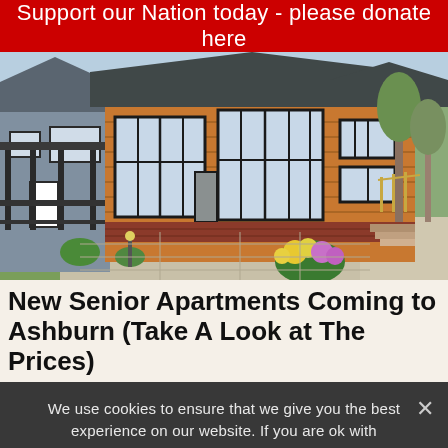Support our Nation today - please donate here
[Figure (photo): Exterior photo of a single-story modular/manufactured home with wood-panel siding in golden-brown color, black-framed large windows, a covered porch with black railings on the left, brick foundation detail, stone/paved patio, flower plantings in foreground, green lawn, trees and blue sky in background.]
New Senior Apartments Coming to Ashburn (Take A Look at The Prices)
We use cookies to ensure that we give you the best experience on our website. If you are ok with anonymous tracking please click ok